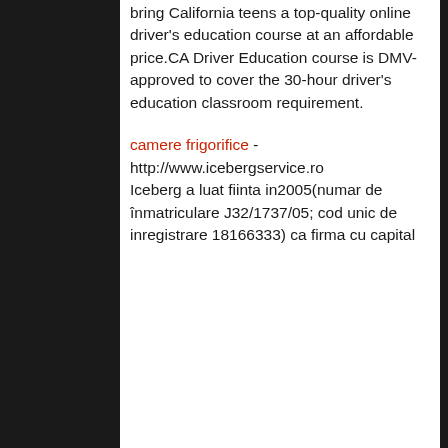bring California teens a top-quality online driver's education course at an affordable price.CA Driver Education course is DMV-approved to cover the 30-hour driver's education classroom requirement.
camere frigorifice - http://www.icebergservice.ro Iceberg a luat fiinta in2005(numar de înmatriculare J32/1737/05; cod unic de inregistrare 18166333) ca firma cu capital